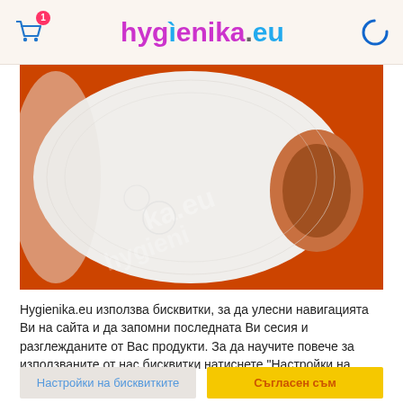hygienika.eu
[Figure (photo): Close-up photo of a white toilet paper roll on an orange background, with the hygienika.eu watermark visible on the roll. The roll's texture and embossing are visible.]
Hygienika.eu използва бисквитки, за да улесни навигацията Ви на сайта и да запомни последната Ви сесия и разглежданите от Вас продукти. За да научите повече за използваните от нас бисквитки натиснете "Настройки на бисквитките".
Настройки на бисквитките
Съгласен съм